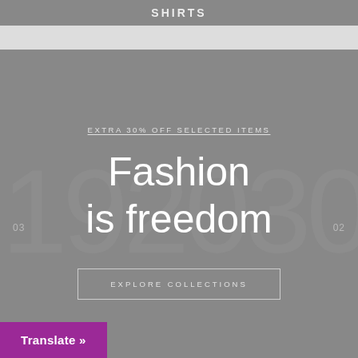EXTRA 30% OFF SELECTED ITEMS
Fashion is freedom
EXPLORE COLLECTIONS
Translate »